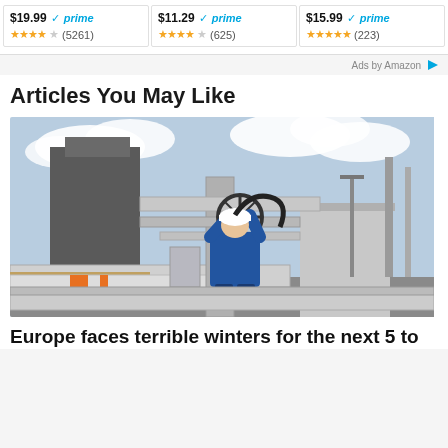[Figure (screenshot): Amazon ad strip showing three products with prices, Prime checkmarks, and star ratings. First: $19.99 prime, 4 stars (5261 reviews). Second: $11.29 prime, 4.5 stars (625 reviews). Third: $15.99 prime, 5 stars (223 reviews).]
Ads by Amazon ▷
Articles You May Like
[Figure (photo): Photo of an industrial gas facility with large pipes and machinery. A worker in a blue uniform and white hard hat is turning a large valve wheel in the foreground. Complex piping infrastructure and industrial buildings visible in the background under a cloudy sky.]
Europe faces terrible winters for the next 5 to